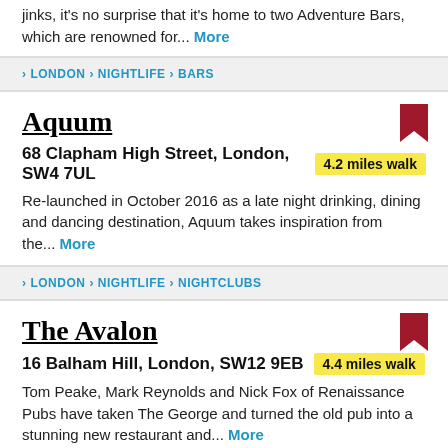jinks, it's no surprise that it's home to two Adventure Bars, which are renowned for... More
> LONDON > NIGHTLIFE > BARS
Aquum
68 Clapham High Street, London, SW4 7UL  4.2 miles walk
Re-launched in October 2016 as a late night drinking, dining and dancing destination, Aquum takes inspiration from the... More
> LONDON > NIGHTLIFE > NIGHTCLUBS
The Avalon
16 Balham Hill, London, SW12 9EB  4.4 miles walk
Tom Peake, Mark Reynolds and Nick Fox of Renaissance Pubs have taken The George and turned the old pub into a stunning new restaurant and... More
> LONDON > NIGHTLIFE > PUBS